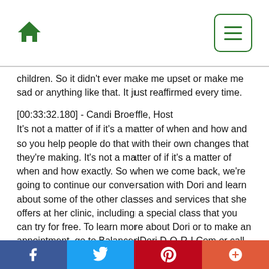Home | Menu
children. So it didn't ever make me upset or make me sad or anything like that. It just reaffirmed every time.
[00:33:32.180] - Candi Broeffle, Host
It's not a matter of if it's a matter of when and how and so you help people do that with their own changes that they're making. It's not a matter of if it's a matter of when and how exactly. So when we come back, we're going to continue our conversation with Dori and learn about some of the other classes and services that she offers at her clinic, including a special class that you can try for free. To learn more about Dori or to make an appointment, go to BalancedDori D-O-R-I.Com or call 763-639-9133 to read the online edition of Natural Awakenings Magazine, visit NaturalTwincities.Com
Facebook | Twitter | Pinterest | Plus